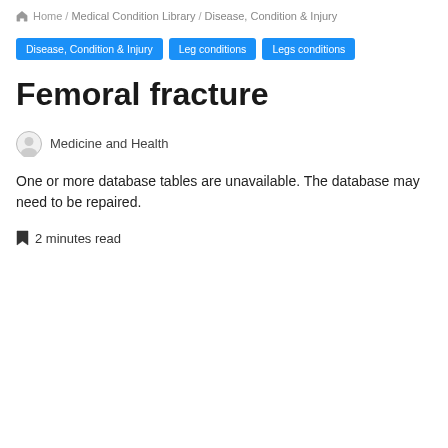Home / Medical Condition Library / Disease, Condition & Injury
Disease, Condition & Injury
Leg conditions
Legs conditions
Femoral fracture
Medicine and Health
One or more database tables are unavailable. The database may need to be repaired.
2 minutes read